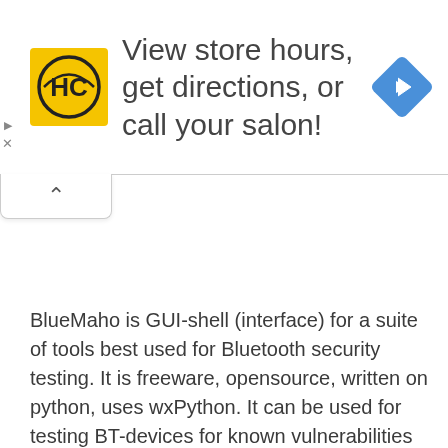[Figure (other): Advertisement banner with HC (Hair Club) yellow logo on left, text 'View store hours, get directions, or call your salon!' in center, blue navigation diamond icon on right. Has collapse/close controls on left edge.]
BlueMaho is GUI-shell (interface) for a suite of tools best used for Bluetooth security testing. It is freeware, opensource, written on python, uses wxPython. It can be used for testing BT-devices for known vulnerabilities and major thing to do – testing to find unknown vulns. Also it can form nice statistics.
I did get interested in Bluetooth for a while and the security